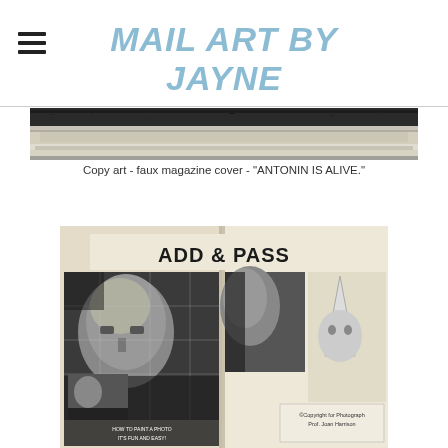MAIL ART BY JAYNE
[Figure (photo): Grainy black and white scanned strip at the top, resembling a faux magazine cover or copy art.]
Copy art - faux magazine cover - "ANTONIN IS ALIVE."
[Figure (photo): A scanned booklet opened to show 'ADD & PASS' text at top, with collaged black and white photographs of faces including a bald man and a figure in a KKK hood, along with captions reading 'HOW TO PAINT A PHOTO IT'S FUN AND EASY!' and 'Copyright for Photograph Prof. Joan Harrison'.]